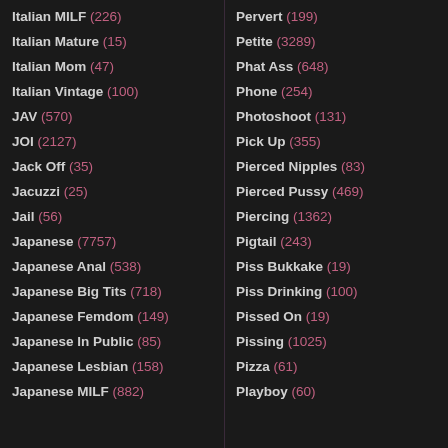Italian MILF (226)
Italian Mature (15)
Italian Mom (47)
Italian Vintage (100)
JAV (570)
JOI (2127)
Jack Off (35)
Jacuzzi (25)
Jail (56)
Japanese (7757)
Japanese Anal (538)
Japanese Big Tits (718)
Japanese Femdom (149)
Japanese In Public (85)
Japanese Lesbian (158)
Japanese MILF (882)
Pervert (199)
Petite (3289)
Phat Ass (648)
Phone (254)
Photoshoot (131)
Pick Up (355)
Pierced Nipples (83)
Pierced Pussy (469)
Piercing (1362)
Pigtail (243)
Piss Bukkake (19)
Piss Drinking (100)
Pissed On (19)
Pissing (1025)
Pizza (61)
Playboy (60)